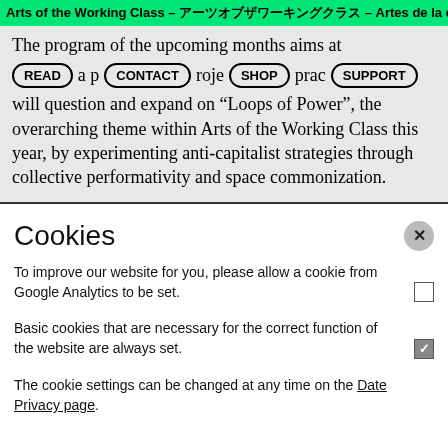Arts of the Working Class – アーツオブザワーキングクラス – Artes de la clase obrera
The program of the upcoming months aims at [READ] a p[CONTACT]roje[SHOP]prac[SUPPORT] will question and expand on “Loops of Power”, the overarching theme within Arts of the Working Class this year, by experimenting anti-capitalist strategies through collective performativity and space commonization.
Cookies
To improve our website for you, please allow a cookie from Google Analytics to be set.
Basic cookies that are necessary for the correct function of the website are always set.
The cookie settings can be changed at any time on the Date Privacy page.